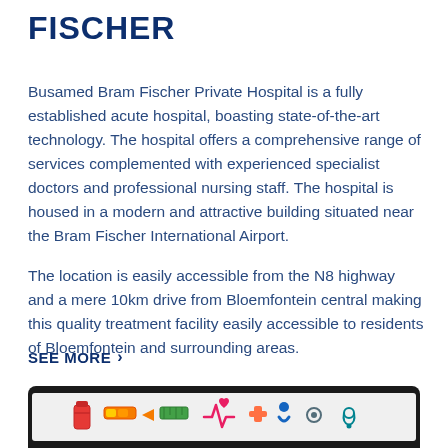FISCHER
Busamed Bram Fischer Private Hospital is a fully established acute hospital, boasting state-of-the-art technology. The hospital offers a comprehensive range of services complemented with experienced specialist doctors and professional nursing staff. The hospital is housed in a modern and attractive building situated near the Bram Fischer International Airport.
The location is easily accessible from the N8 highway and a mere 10km drive from Bloemfontein central making this quality treatment facility easily accessible to residents of Bloemfontein and surrounding areas.
SEE MORE >
[Figure (screenshot): Tablet device showing a medical app interface with colorful health icons]